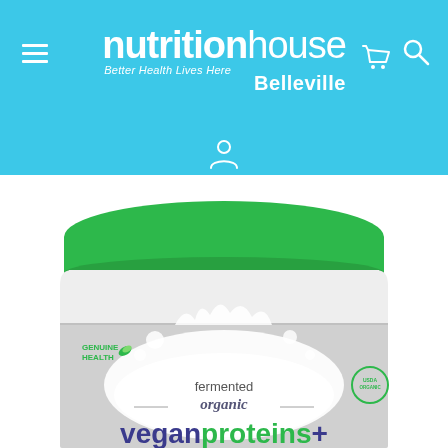[Figure (screenshot): Nutrition House Belleville website header with logo, menu icon, cart icon, search icon, and user account icon on a blue background]
[Figure (photo): Genuine Health Fermented Organic Vegan Proteins+ supplement powder container with green lid, showing product label with milk splash imagery]